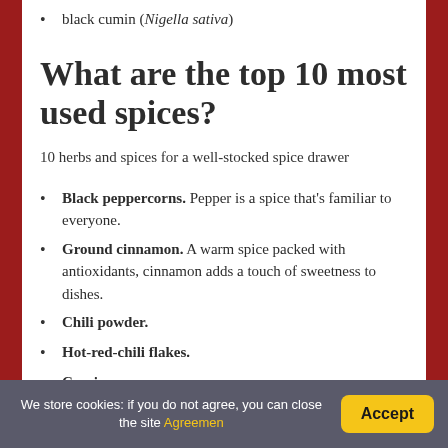black cumin (Nigella sativa)
What are the top 10 most used spices?
10 herbs and spices for a well-stocked spice drawer
Black peppercorns. Pepper is a spice that's familiar to everyone.
Ground cinnamon. A warm spice packed with antioxidants, cinnamon adds a touch of sweetness to dishes.
Chili powder.
Hot-red-chili flakes.
Cumin.
Ground ginger.
We store cookies: if you do not agree, you can close the site Agreemen  Accept